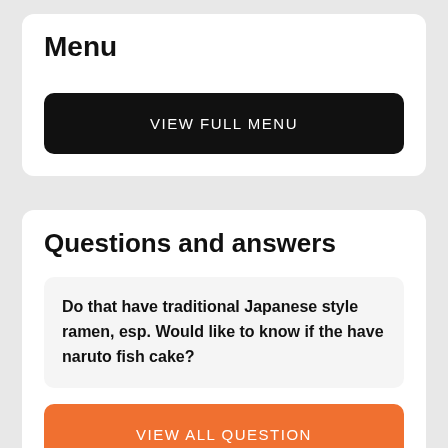Menu
VIEW FULL MENU
Questions and answers
Do that have traditional Japanese style ramen, esp. Would like to know if the have naruto fish cake?
VIEW ALL QUESTION